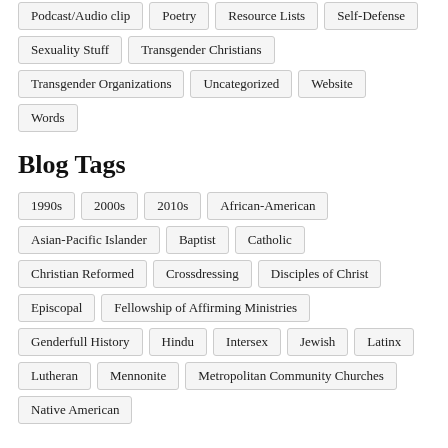Podcast/Audio clip
Poetry
Resource Lists
Self-Defense
Sexuality Stuff
Transgender Christians
Transgender Organizations
Uncategorized
Website
Words
Blog Tags
1990s
2000s
2010s
African-American
Asian-Pacific Islander
Baptist
Catholic
Christian Reformed
Crossdressing
Disciples of Christ
Episcopal
Fellowship of Affirming Ministries
Genderfull History
Hindu
Intersex
Jewish
Latinx
Lutheran
Mennonite
Metropolitan Community Churches
Native American